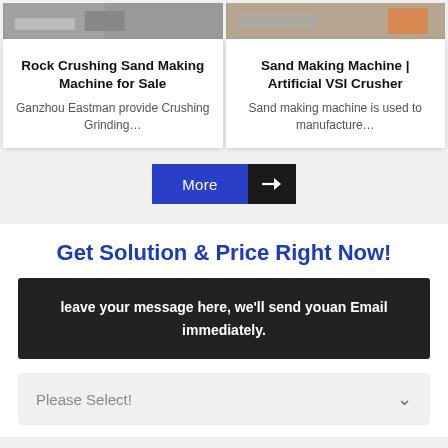[Figure (photo): Photo of rock crushing sand making machine]
Rock Crushing Sand Making Machine for Sale
Ganzhou Eastman provide Crushing Grinding…
[Figure (photo): Photo of sand making machine / artificial VSI crusher]
Sand Making Machine | Artificial VSI Crusher
Sand making machine is used to manufacture…
More →
Get Solution & Price Right Now!
leave your message here, we'll send youan Email immediately.
Please Select!